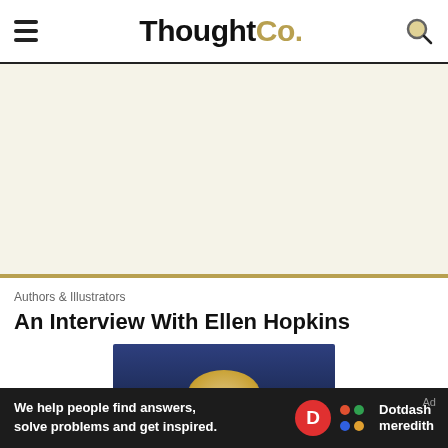ThoughtCo.
[Figure (photo): Advertisement / blank area with beige background (ad placeholder)]
Authors & Illustrators
An Interview With Ellen Hopkins
[Figure (photo): Partial photo of Ellen Hopkins with blonde hair against a dark blue background]
Ad
We help people find answers, solve problems and get inspired. Dotdash meredith